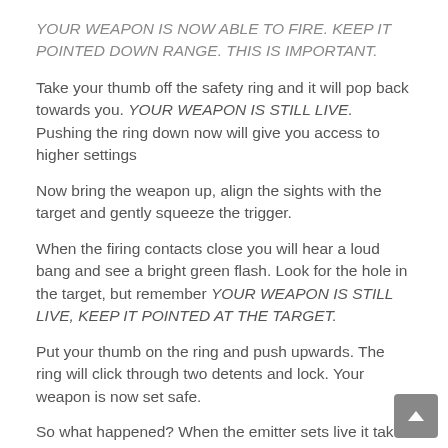YOUR WEAPON IS NOW ABLE TO FIRE. KEEP IT POINTED DOWN RANGE. THIS IS IMPORTANT.
Take your thumb off the safety ring and it will pop back towards you. YOUR WEAPON IS STILL LIVE. Pushing the ring down now will give you access to higher settings
Now bring the weapon up, align the sights with the target and gently squeeze the trigger.
When the firing contacts close you will hear a loud bang and see a bright green flash. Look for the hole in the target, but remember YOUR WEAPON IS STILL LIVE, KEEP IT POINTED AT THE TARGET.
Put your thumb on the ring and push upwards. The ring will click through two detents and lock. Your weapon is now set safe.
So what happened? When the emitter sets live it takes a small quantity of material from the H-cartridge in the grip and moves it to the chamber. As the trigger...